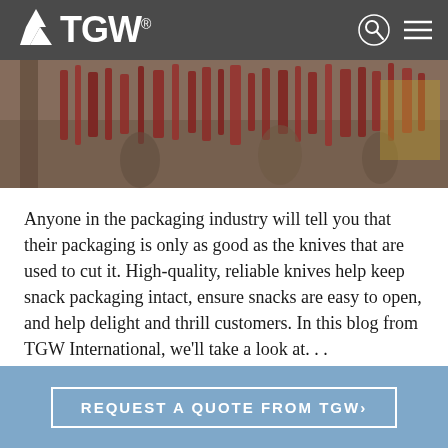TGW
[Figure (photo): A blurry outdoor market scene showing hanging dried meats or produce with people in the background]
Anyone in the packaging industry will tell you that their packaging is only as good as the knives that are used to cut it. High-quality, reliable knives help keep snack packaging intact, ensure snacks are easy to open, and help delight and thrill customers. In this blog from TGW International, we’ll take a look at…
CONTINUE READING
REQUEST A QUOTE FROM TGW›